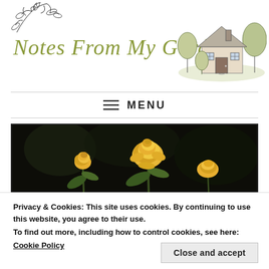[Figure (illustration): Sketched botanical leaves in black ink, top-left corner decoration]
Notes From My Garden
[Figure (illustration): Ink and watercolor sketch of a cottage with thatched roof surrounded by trees, top-right corner]
≡ MENU
[Figure (photo): Close-up photograph of yellow roses against a dark background]
Privacy & Cookies: This site uses cookies. By continuing to use this website, you agree to their use.
To find out more, including how to control cookies, see here:
Cookie Policy
Close and accept